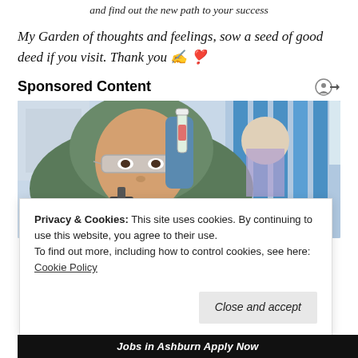and find out the new path to your success
My Garden of thoughts and feelings, sow a seed of good deed if you visit. Thank you ✍️❣️
Sponsored Content
[Figure (photo): A woman wearing a green hijab and safety glasses holds a vial in a laboratory setting, with a microscope and blue laboratory equipment in the background.]
Privacy & Cookies: This site uses cookies. By continuing to use this website, you agree to their use.
To find out more, including how to control cookies, see here: Cookie Policy
Close and accept
Jobs in Ashburn Apply Now